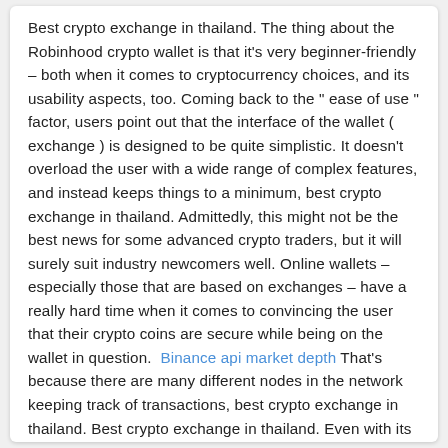Best crypto exchange in thailand. The thing about the Robinhood crypto wallet is that it's very beginner-friendly – both when it comes to cryptocurrency choices, and its usability aspects, too. Coming back to the " ease of use " factor, users point out that the interface of the wallet ( exchange ) is designed to be quite simplistic. It doesn't overload the user with a wide range of complex features, and instead keeps things to a minimum, best crypto exchange in thailand. Admittedly, this might not be the best news for some advanced crypto traders, but it will surely suit industry newcomers well. Online wallets – especially those that are based on exchanges – have a really hard time when it comes to convincing the user that their crypto coins are secure while being on the wallet in question.  Binance api market depth That's because there are many different nodes in the network keeping track of transactions, best crypto exchange in thailand. Best crypto exchange in thailand. Even with its problems, I'm all in on Robinhood Crypto, best crypto to buy besides dogecoin.